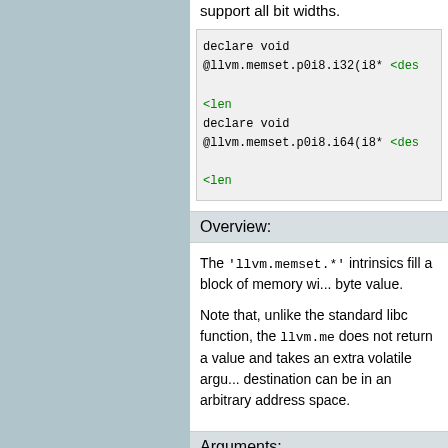support all bit widths.
declare void @llvm.memset.p0i8.i32(i8* <des...
    i32 <len...
declare void @llvm.memset.p0i8.i64(i8* <des...
    i64 <len...
Overview:
The 'llvm.memset.*' intrinsics fill a block of memory wi... byte value.
Note that, unlike the standard libc function, the llvm.me... does not return a value and takes an extra volatile argu... destination can be in an arbitrary address space.
Arguments:
The first argument is a pointer to the destination to fill, th... byte value with which to fill it, the third argument is an in... specifying the number of bytes to fill, and the fourth is a... indicating a volatile access.